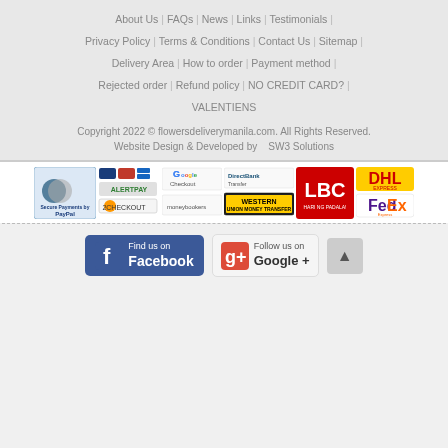About Us | FAQs | News | Links | Testimonials | Privacy Policy | Terms & Conditions | Contact Us | Sitemap | Delivery Area | How to order | Payment method | Rejected order | Refund policy | NO CREDIT CARD? | VALENTIENS
Copyright 2022 © flowersdeliverymanila.com. All Rights Reserved.
Website Design & Developed by   SW3 Solutions
[Figure (logo): Payment method logos: PayPal, credit cards, AlertPay, 2Checkout, Google Checkout, Moneybookers, DirectBank Transfer, Western Union, LBC, DHL Express, FedEx Express]
[Figure (infographic): Find us on Facebook badge and Follow us on Google+ badge with scroll-to-top button]